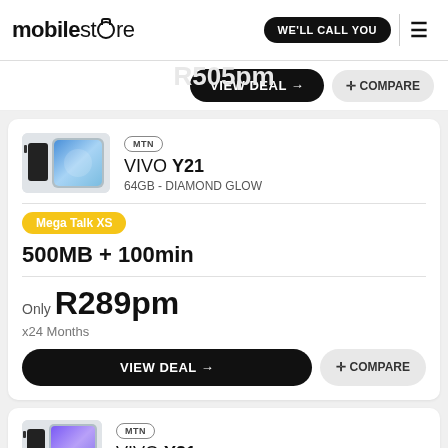mobilestore | WE'LL CALL YOU
VIEW DEAL → | + COMPARE
MTN
VIVO Y21
64GB - DIAMOND GLOW
Mega Talk XS
500MB + 100min
Only R289pm
x24 Months
VIEW DEAL → | + COMPARE
MTN
VIVO Y21
64GB - DIAMOND GLOW